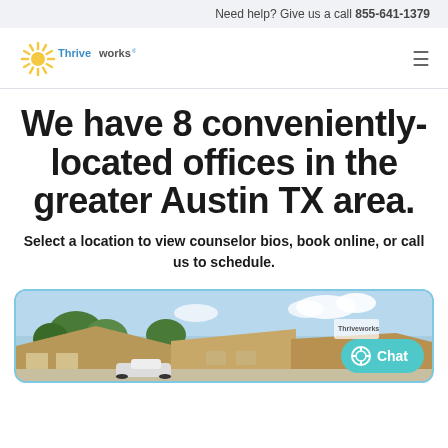Need help? Give us a call 855-641-1379
[Figure (logo): Thriveworks logo with sunburst icon and brand name]
We have 8 conveniently-located offices in the greater Austin TX area.
Select a location to view counselor bios, book online, or call us to schedule.
[Figure (photo): Exterior photo of a Thriveworks office building with parked cars and trees, with a Chat button overlay]